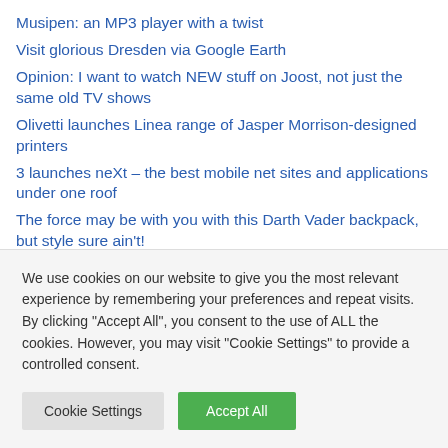Musipen: an MP3 player with a twist
Visit glorious Dresden via Google Earth
Opinion: I want to watch NEW stuff on Joost, not just the same old TV shows
Olivetti launches Linea range of Jasper Morrison-designed printers
3 launches neXt – the best mobile net sites and applications under one roof
The force may be with you with this Darth Vader backpack, but style sure ain't!
We use cookies on our website to give you the most relevant experience by remembering your preferences and repeat visits. By clicking "Accept All", you consent to the use of ALL the cookies. However, you may visit "Cookie Settings" to provide a controlled consent.